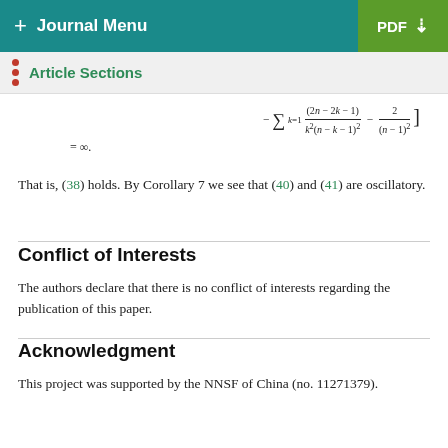+ Journal Menu  PDF ↓
Article Sections
That is, (38) holds. By Corollary 7 we see that (40) and (41) are oscillatory.
Conflict of Interests
The authors declare that there is no conflict of interests regarding the publication of this paper.
Acknowledgment
This project was supported by the NNSF of China (no. 11271379).